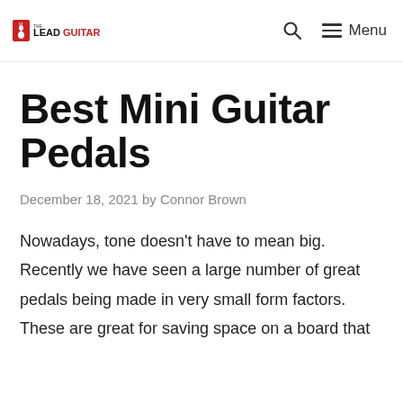THE LEADGUITAR | Search | Menu
Best Mini Guitar Pedals
December 18, 2021 by Connor Brown
Nowadays, tone doesn't have to mean big. Recently we have seen a large number of great pedals being made in very small form factors. These are great for saving space on a board that